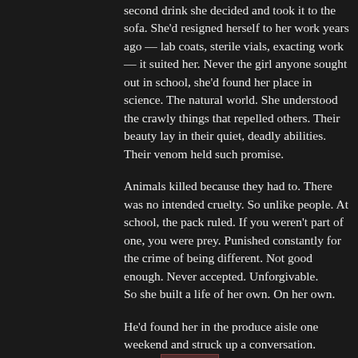second drink she decided and took it to the sofa. She'd resigned herself to her work years ago — lab coats, sterile vials, exacting work — it suited her. Never the girl anyone sought out in school, she'd found her place in science. The natural world. She understood the crawly things that repelled others. Their beauty lay in their quiet, deadly abilities. Their venom held such promise.
Animals killed because they had to. There was no intended cruelty. So unlike people. At school, the pack ruled. If you weren't part of one, you were prey. Punished constantly for the crime of being different. Not good enough. Never accepted. Unforgivable.
So she built a life of her own. On her own.
He'd found her in the produce aisle one weekend and struck up a conversation. Sweet. Apparently lost in the neighborhood market. In short order, he'd invited himself for dinner, and made it seem like it was her idea.
Her plan weighed heavily on her. With a sigh, she tried to recline into the cushions.